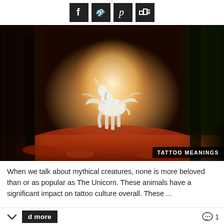[Figure (other): Social media share icons: Facebook, Twitter, Pinterest, and Stumbleupon/Mix, white icons on black square backgrounds]
[Figure (illustration): Fantasy illustration of a white winged unicorn (Pegasus-unicorn) rearing up in a glowing forest path surrounded by red/orange autumn leaves and dark trees with moss. Text badge 'TATTOO MEANINGS' in bottom right corner.]
When we talk about mythical creatures, none is more beloved than or as popular as The Unicorn. These animals have a significant impact on tattoo culture overall. These ...
d more
1
[Figure (logo): Advertisement: Hair Cuttery logo (HC in black circle on yellow background), text 'Your Everything Salon' in large black font, 'Hair Cuttery' in blue font, and a blue diamond direction sign icon.]